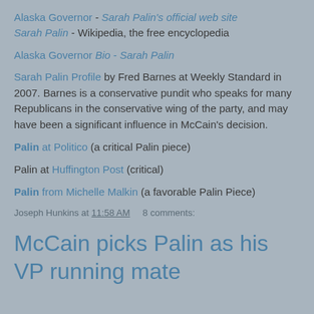Alaska Governor - Sarah Palin's official web site
Sarah Palin - Wikipedia, the free encyclopedia
Alaska Governor Bio - Sarah Palin
Sarah Palin Profile by Fred Barnes at Weekly Standard in 2007. Barnes is a conservative pundit who speaks for many Republicans in the conservative wing of the party, and may have been a significant influence in McCain's decision.
Palin at Politico (a critical Palin piece)
Palin at Huffington Post (critical)
Palin from Michelle Malkin (a favorable Palin Piece)
Joseph Hunkins at 11:58 AM    8 comments:
McCain picks Palin as his VP running mate